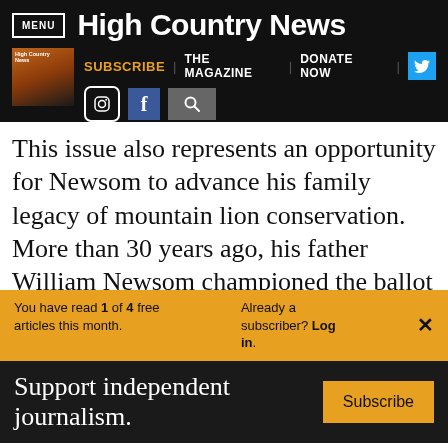MENU | High Country News
SUBSCRIBE | THE MAGAZINE | DONATE NOW
This issue also represents an opportunity for Newsom to advance his family legacy of mountain lion conservation. More than 30 years ago, his father William Newsom championed the ballot measure that banned hunting the species in California
You have read 1 of 4 free articles this month. Already a subscriber? Log in.
Support independent journalism. Subscribe